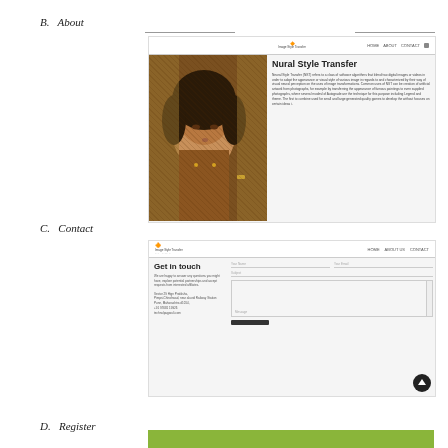B.   About
[Figure (screenshot): Screenshot of Neural Style Transfer website About page, showing a painting of a woman's portrait on the left, and text 'Nural Style Transfer' with description on the right. Navigation bar at top with logo and HOME, ABOUT, CONTACT links.]
C.   Contact
[Figure (screenshot): Screenshot of Neural Style Transfer website Contact page, showing logo on left, navigation links HOME, ABOUT US, CONTACT on right, 'Get in touch' heading, contact form with fields for name, email, subject and message, and address information on the left.]
D.   Register